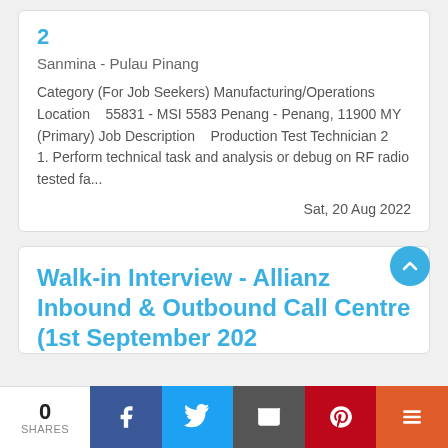2
Sanmina - Pulau Pinang
Category (For Job Seekers) Manufacturing/Operations   Location   55831 - MSI 5583 Penang - Penang, 11900 MY (Primary) Job Description   Production Test Technician 2   1. Perform technical task and analysis or debug on RF radio tested fa...
Sat, 20 Aug 2022
Walk-in Interview - Allianz Inbound & Outbound Call Centre (1st September 202…
0 SHARES  [Facebook] [Twitter] [Email] [Pinterest] [More]